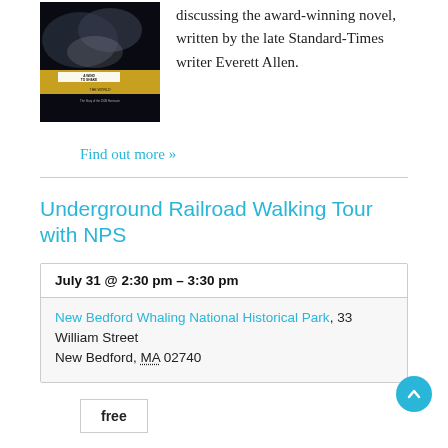[Figure (photo): Book cover of 'A Wind to Shake the World' with dark stormy image and yellow stripe]
discussing the award-winning novel, written by the late Standard-Times writer Everett Allen.
Find out more »
Underground Railroad Walking Tour with NPS
| July 31 @ 2:30 pm – 3:30 pm |
| New Bedford Whaling National Historical Park, 33 William Street
New Bedford, MA 02740 |
free